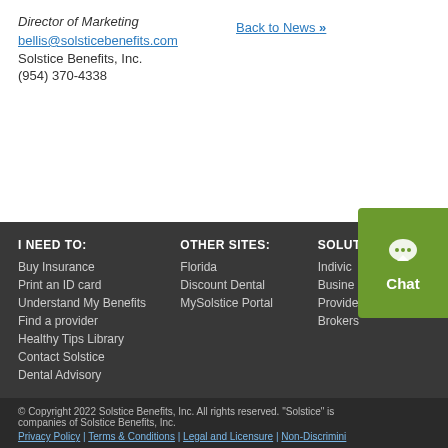Director of Marketing
bellis@solsticebenefits.com
Solstice Benefits, Inc.
(954) 370-4338
Back to News »
[Figure (other): Twitter Tweet button (blue rounded rectangle with bird icon and 'Tweet' text)]
[Figure (other): Green Chat widget button with speech bubble icon and 'Chat' label]
I NEED TO:
Buy Insurance
Print an ID card
Understand My Benefits
Find a provider
Healthy Tips Library
Contact Solstice
Dental Advisory

OTHER SITES:
Florida
Discount Dental
MySolstice Portal

SOLUT[IONS]:
Individ[uals]
Busine[ss]
Providers
Brokers

© Copyright 2022 Solstice Benefits, Inc. All rights reserved. "Solstice" is companies of Solstice Benefits, Inc.
Privacy Policy | Terms & Conditions | Legal and Licensure | Non-Discrimin[ation]